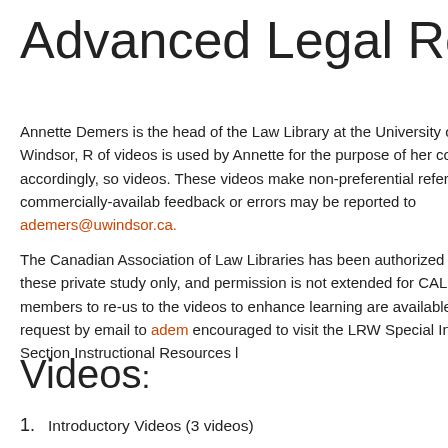Advanced Legal Re
Annette Demers is the head of the Law Library at the University of Windsor, R of videos is used by Annette for the purpose of her course, and accordingly, so videos. These videos make non-preferential reference to commercially-availab feedback or errors may be reported to ademers@uwindsor.ca.
The Canadian Association of Law Libraries has been authorized to make these private study only, and permission is not extended for CALL members to re-us to the videos to enhance learning are available upon request by email to adem encouraged to visit the LRW Special Interest Section Instructional Resources l
Videos:
Introductory Videos (3 videos)